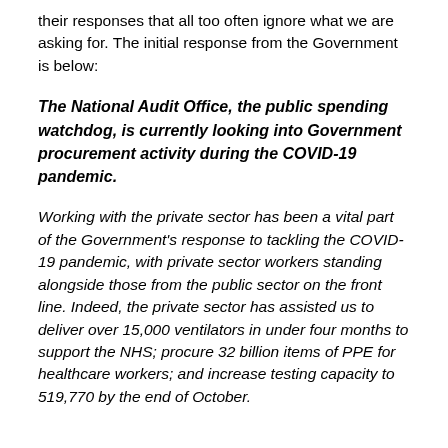their responses that all too often ignore what we are asking for. The initial response from the Government is below:
The National Audit Office, the public spending watchdog, is currently looking into Government procurement activity during the COVID-19 pandemic.
Working with the private sector has been a vital part of the Government's response to tackling the COVID-19 pandemic, with private sector workers standing alongside those from the public sector on the front line. Indeed, the private sector has assisted us to deliver over 15,000 ventilators in under four months to support the NHS; procure 32 billion items of PPE for healthcare workers; and increase testing capacity to 519,770 by the end of October.